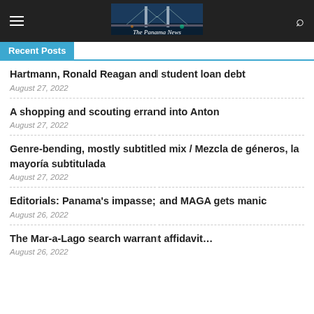The Panama News
Recent Posts
Hartmann, Ronald Reagan and student loan debt
August 27, 2022
A shopping and scouting errand into Anton
August 27, 2022
Genre-bending, mostly subtitled mix / Mezcla de géneros, la mayoría subtitulada
August 27, 2022
Editorials: Panama's impasse; and MAGA gets manic
August 26, 2022
The Mar-a-Lago search warrant affidavit…
August 26, 2022